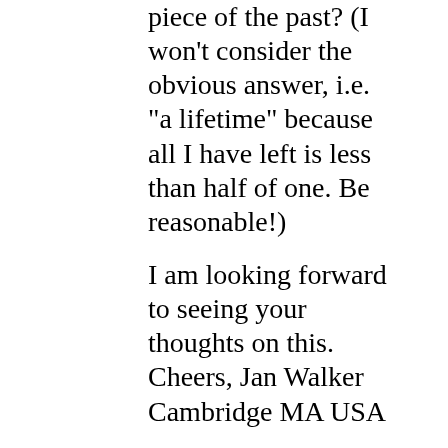piece of the past? (I won't consider the obvious answer, i.e. "a lifetime" because all I have left is less than half of one. Be reasonable!)
I am looking forward to seeing your thoughts on this. Cheers, Jan Walker Cambridge MA USA